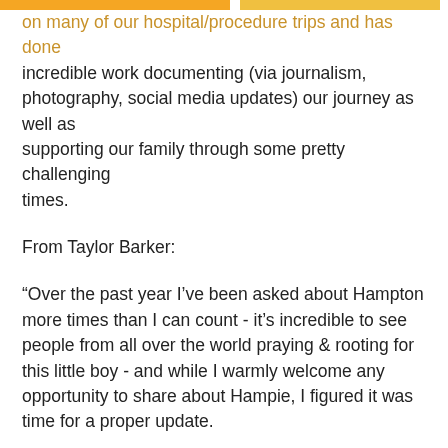on many of our hospital/procedure trips and has done incredible work documenting (via journalism, photography, social media updates) our journey as well as supporting our family through some pretty challenging times.
From Taylor Barker:
“Over the past year I’ve been asked about Hampton more times than I can count - it’s incredible to see people from all over the world praying & rooting for this little boy - and while I warmly welcome any opportunity to share about Hampie, I figured it was time for a proper update.
Hampton was officially listed for transplant with The Children’s Hospital of Philadelphia (CHOP) on January 10, 2020. The organ transplant process is complex and Hampton requires three organs (a right lung, left lung, and a heart) all from the same donor, that match his specific